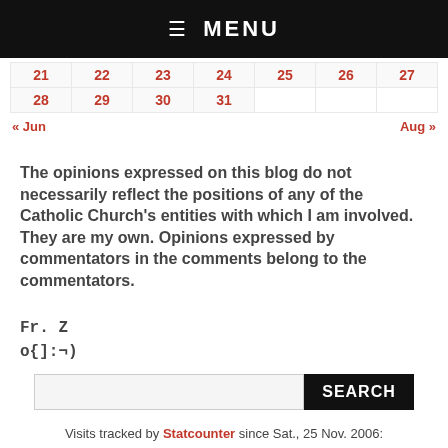☰ MENU
| 21 | 22 | 23 | 24 | 25 | 26 | 27 |
| 28 | 29 | 30 | 31 |  |  |  |
« Jun    Aug »
The opinions expressed on this blog do not necessarily reflect the positions of any of the Catholic Church's entities with which I am involved. They are my own. Opinions expressed by commentators in the comments belong to the commentators.
Fr. Z
o{]:¬)
SEARCH
Visits tracked by Statcounter since Sat., 25 Nov. 2006:
107100931